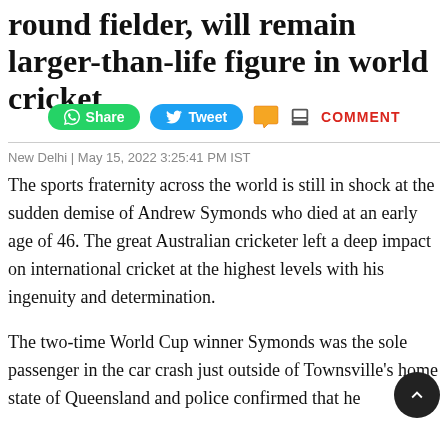round fielder, will remain larger-than-life figure in world cricket
[Figure (other): Social sharing bar with WhatsApp Share button (green), Tweet button (blue), comment bubble icon (orange), print icon, and COMMENT label in red]
New Delhi | May 15, 2022 3:25:41 PM IST
The sports fraternity across the world is still in shock at the sudden demise of Andrew Symonds who died at an early age of 46. The great Australian cricketer left a deep impact on international cricket at the highest levels with his ingenuity and determination.
The two-time World Cup winner Symonds was the sole passenger in the car crash just outside of Townsville's home state of Queensland and police confirmed that he